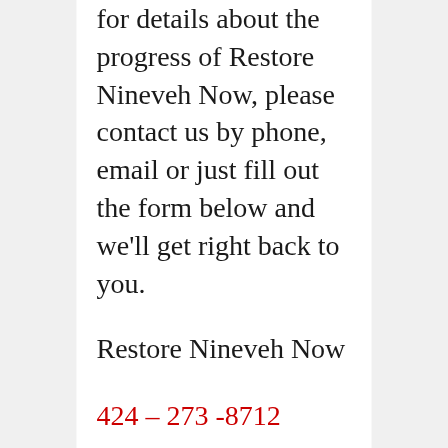for details about the progress of Restore Nineveh Now, please contact us by phone, email or just fill out the form below and we'll get right back to you.
Restore Nineveh Now
424 – 273 -8712
info@restoreninevehnow.org
The Restore Nineveh Now Foundation is a 501 c3 organization, with a tax deductible, not-for-profit status pending. We fully expect that donations made in 2016